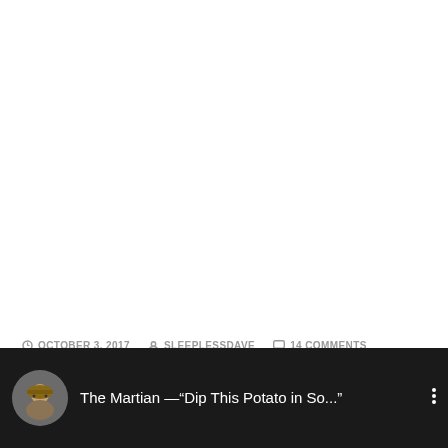OCTOBER 3, 2017   SLEEPLESSDAVE   14 COMMENTS
[Figure (screenshot): YouTube-style video bar showing thumbnail image of person with hat and title 'The Martian —"Dip This Potato in So...' with three-dot menu icon on dark background]